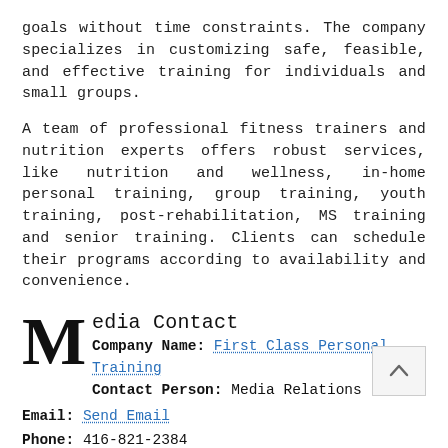goals without time constraints. The company specializes in customizing safe, feasible, and effective training for individuals and small groups.
A team of professional fitness trainers and nutrition experts offers robust services, like nutrition and wellness, in-home personal training, group training, youth training, post-rehabilitation, MS training and senior training. Clients can schedule their programs according to availability and convenience.
Media Contact
Company Name: First Class Personal Training
Contact Person: Media Relations
Email: Send Email
Phone: 416-821-2384
City: Toronto
State: Ontario
Country: Canada
Website: https://www.firstclasspt.com/